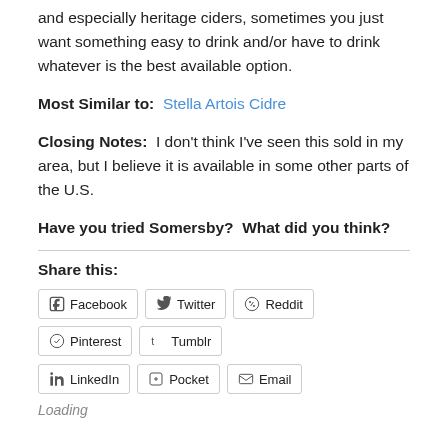and especially heritage ciders, sometimes you just want something easy to drink and/or have to drink whatever is the best available option.
Most Similar to:  Stella Artois Cidre
Closing Notes:  I don't think I've seen this sold in my area, but I believe it is available in some other parts of the U.S.
Have you tried Somersby?  What did you think?
Share this:
Facebook Twitter Reddit Pinterest Tumblr LinkedIn Pocket Email
Loading